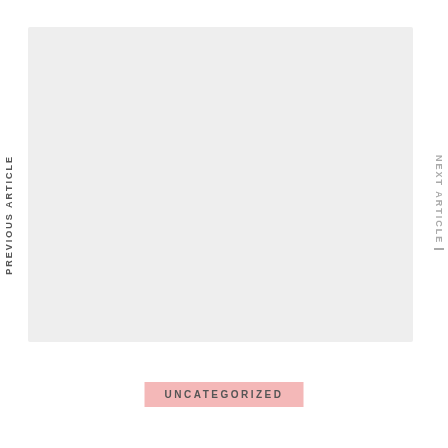[Figure (other): Large light grey rectangular image placeholder area]
PREVIOUS ARTICLE
NEXT ARTICLE
UNCATEGORIZED
The Best New Books on Books I Recently Loved